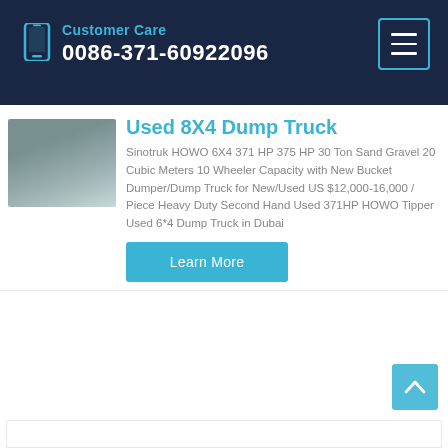Customer Care 0086-371-60922096
Used 8X4 Dump Truck
Sinotruk HOWO 6X4 371 HP 375 HP 30 Ton Sand Gravel 20 Cubic Meters 10 Wheeler Capacity with New Bucket Dumper/Dump Truck for New/Used US $12,000-16,000 / Piece Heavy Duty Second Hand Used 371HP HOWO Tipper Used 6*4 Dump Truck in Dubai
Learn More